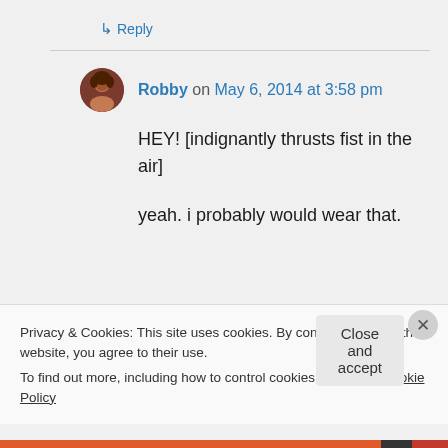↳ Reply
Robby on May 6, 2014 at 3:58 pm
HEY! [indignantly thrusts fist in the air]

yeah. i probably would wear that.
Privacy & Cookies: This site uses cookies. By continuing to use this website, you agree to their use.
To find out more, including how to control cookies, see here: Cookie Policy
Close and accept